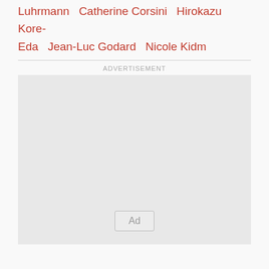Luhrmann   Catherine Corsini   Hirokazu Kore-Eda   Jean-Luc Godard   Nicole Kidm
ADVERTISEMENT
[Figure (other): Advertisement placeholder box with an 'Ad' button centered near the bottom]